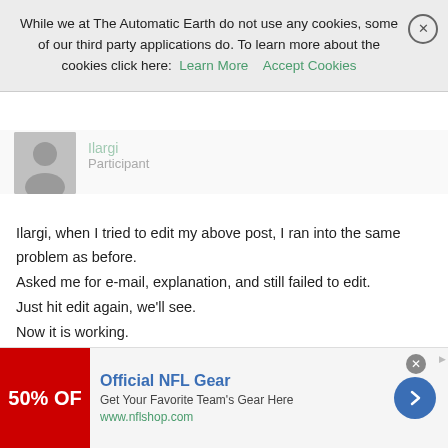While we at The Automatic Earth do not use any cookies, some of our third party applications do. To learn more about the cookies click here: Learn More   Accept Cookies
Ilargi, when I tried to edit my above post, I ran into the same problem as before.
Asked me for e-mail, explanation, and still failed to edit.
Just hit edit again, we'll see.
Now it is working.
July 14, 2016 at 1:14 pm   #29290
Dr. Diablo
Participant
Official NFL Gear
Get Your Favorite Team's Gear Here
www.nflshop.com